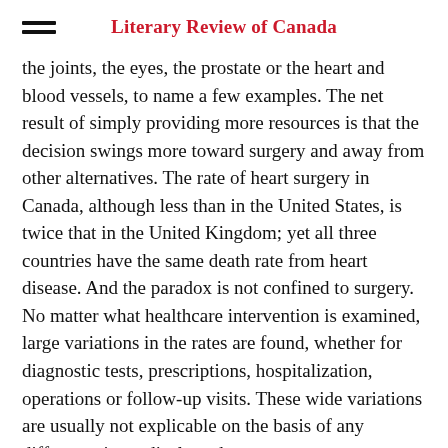Literary Review of Canada
the joints, the eyes, the prostate or the heart and blood vessels, to name a few examples. The net result of simply providing more resources is that the decision swings more toward surgery and away from other alternatives. The rate of heart surgery in Canada, although less than in the United States, is twice that in the United Kingdom; yet all three countries have the same death rate from heart disease. And the paradox is not confined to surgery. No matter what healthcare intervention is examined, large variations in the rates are found, whether for diagnostic tests, prescriptions, hospitalization, operations or follow-up visits. These wide variations are usually not explicable on the basis of any difference in medical need.
In dealing with the public appetite for ever more